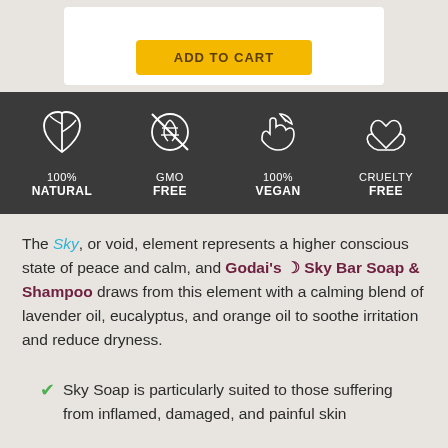[Figure (other): Add to cart button inside white box on light grey background]
[Figure (infographic): Dark banner with four product badges: 100% Natural, GMO Free, 100% Vegan, Cruelty Free — each with a white outline icon above the text]
The Sky, or void, element represents a higher conscious state of peace and calm, and Godai's ☽ Sky Bar Soap & Shampoo draws from this element with a calming blend of lavender oil, eucalyptus, and orange oil to soothe irritation and reduce dryness.
Sky Soap is particularly suited to those suffering from inflamed, damaged, and painful skin